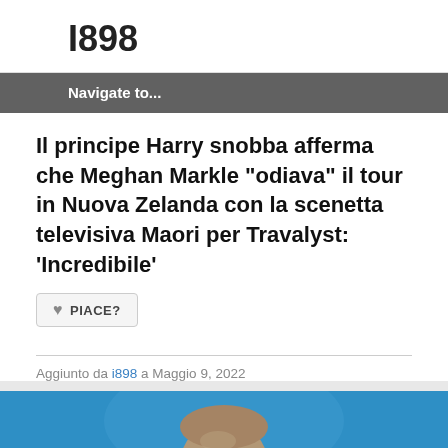I898
Navigate to...
Il principe Harry snobba afferma che Meghan Markle "odiava" il tour in Nuova Zelanda con la scenetta televisiva Maori per Travalyst: 'Incredibile'
♥ PIACE?
Aggiunto da i898 a Maggio 9, 2022
[Figure (photo): Photo of Prince Harry on a blue background, showing his face and upper body, looking slightly upward to the left]